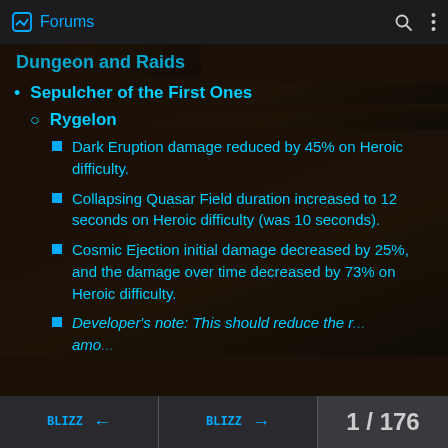Forums
Dungeon and Raids
Sepulcher of the First Ones
Rygelon
Dark Eruption damage reduced by 45% on Heroic difficulty.
Collapsing Quasar Field duration increased to 12 seconds on Heroic difficulty (was 10 seconds).
Cosmic Ejection initial damage decreased by 25%, and the damage over time decreased by 73% on Heroic difficulty.
Developer’s note: This should reduce the r... amo...
1 / 176